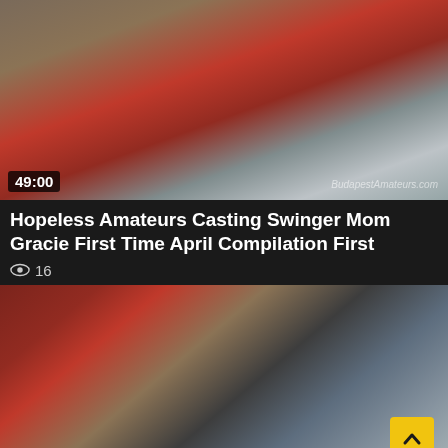[Figure (photo): Video thumbnail showing a woman sitting on a bed with red bedding, bedroom setting with plants and furniture in background. Duration badge showing 49:00 in lower left, watermark text in lower right.]
Hopeless Amateurs Casting Swinger Mom Gracie First Time April Compilation First
👁 16
[Figure (photo): Second video thumbnail showing explicit adult content. Yellow scroll-to-top button in lower right corner.]